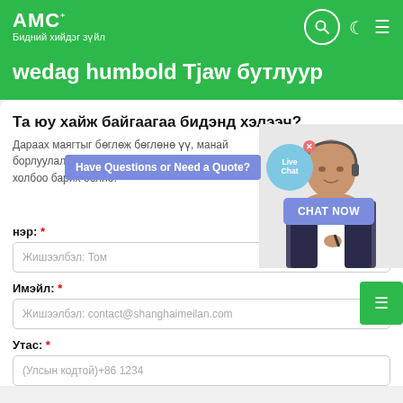AMC — Бидний хийдэг зүйл
wedag humbold Tjaw бутлуур
Та юу хайж байгаагаа бидэнд хэлээч?
Дараах маягтыг бөглөж бөглөнө үү, манай борлуулалтын баг удахгүй тантай хамгийн сайн нөхцөөр холбоо барих болно.
Have Questions or Need a Quote?
Live Chat
CHAT NOW
нэр: *
Жишээлбэл: Том
Имэйл: *
Жишээлбэл: contact@shanghaimeilan.com
Утас: *
(Улсын кодтой)+86 1234